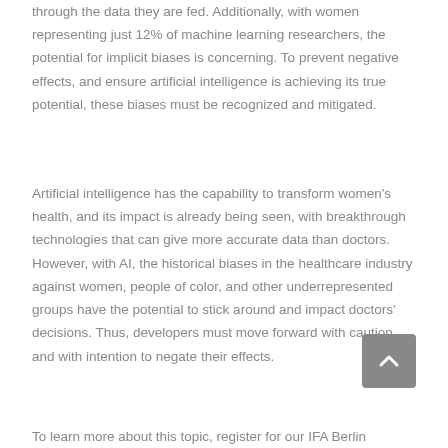through the data they are fed. Additionally, with women representing just 12% of machine learning researchers, the potential for implicit biases is concerning. To prevent negative effects, and ensure artificial intelligence is achieving its true potential, these biases must be recognized and mitigated.
Artificial intelligence has the capability to transform women's health, and its impact is already being seen, with breakthrough technologies that can give more accurate data than doctors. However, with AI, the historical biases in the healthcare industry against women, people of color, and other underrepresented groups have the potential to stick around and impact doctors' decisions. Thus, developers must move forward with caution, and with intention to negate their effects.
To learn more about this topic, register for our IFA Berlin...